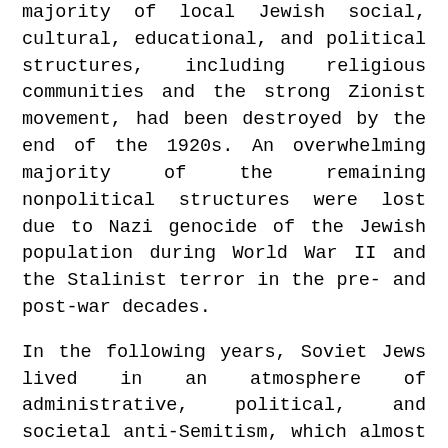majority of local Jewish social, cultural, educational, and political structures, including religious communities and the strong Zionist movement, had been destroyed by the end of the 1920s. An overwhelming majority of the remaining nonpolitical structures were lost due to Nazi genocide of the Jewish population during World War II and the Stalinist terror in the pre- and post-war decades.
In the following years, Soviet Jews lived in an atmosphere of administrative, political, and societal anti-Semitism, which almost totally precluded the existence of traditional forms of Jewish communal, cultural, and political organization. The official position of the Communist authorities fluctuated between suppression of any form of organized Jewish life and